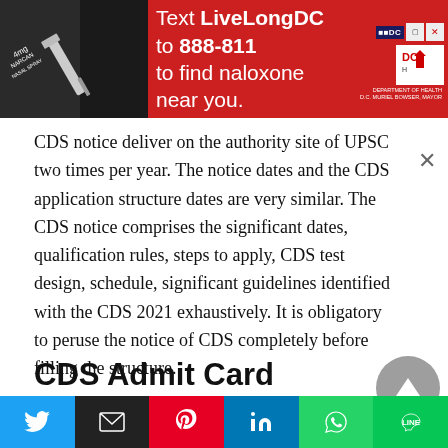[Figure (infographic): Red advertisement banner: 'Text LiveLongDC to 888-811 to find naloxone near you.' with syringe photo on left and DC/DOH logos on right.]
CDS notice deliver on the authority site of UPSC two times per year. The notice dates and the CDS application structure dates are very similar. The CDS notice comprises the significant dates, qualification rules, steps to apply, CDS test design, schedule, significant guidelines identified with the CDS 2021 exhaustively. It is obligatory to peruse the notice of CDS completely before filling the structure.
CDS Admit Card 2021:
[Figure (infographic): Social media share bar with Twitter, Email, Pinterest, LinkedIn, WhatsApp, and Line buttons.]